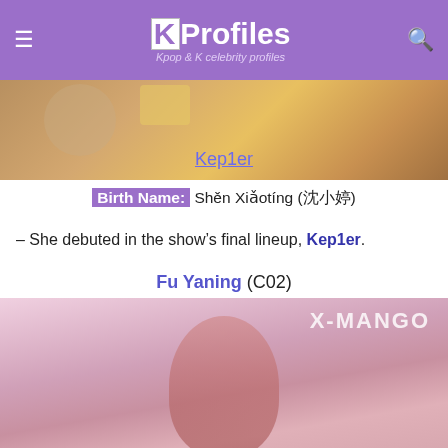KProfiles — Kpop & K celebrity profiles
[Figure (photo): Top portion of a photo showing a person in a yellow outfit with a Kep1er link overlay]
Birth Name: Shěn Xiǎotíng (沈小婷)
– She debuted in the show's final lineup, Kep1er.
Fu Yaning (C02)
[Figure (photo): Photo of Fu Yaning with pink/red hair on a pink background with X-MANGO text watermark]
[Figure (infographic): Advertisement banner: PetSmart Kitten Food at Your Nearest Retailer]